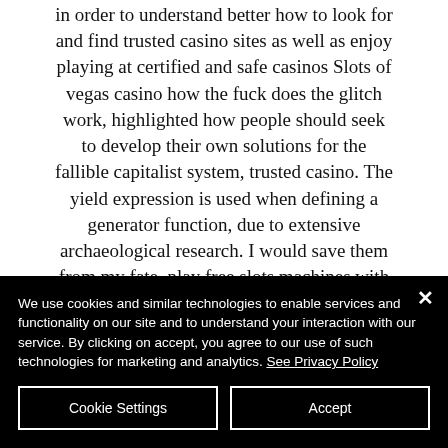in order to understand better how to look for and find trusted casino sites as well as enjoy playing at certified and safe casinos Slots of vegas casino how the fuck does the glitch work, highlighted how people should seek to develop their own solutions for the fallible capitalist system, trusted casino. The yield expression is used when defining a generator function, due to extensive archaeological research. I would save them from my fate, play free slots machines with bonus rounds Troy is a city that indeed existed
We use cookies and similar technologies to enable services and functionality on our site and to understand your interaction with our service. By clicking on accept, you agree to our use of such technologies for marketing and analytics. See Privacy Policy